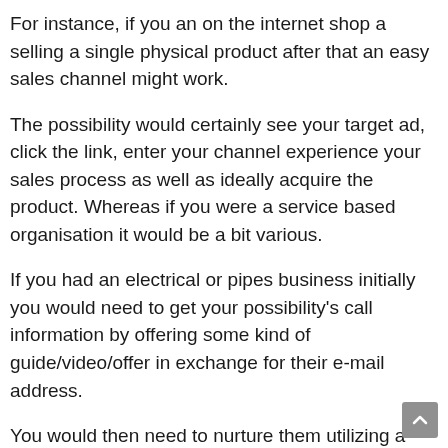For instance, if you an on the internet shop a selling a single physical product after that an easy sales channel might work.
The possibility would certainly see your target ad, click the link, enter your channel experience your sales process as well as ideally acquire the product. Whereas if you were a service based organisation it would be a bit various.
If you had an electrical or pipes business initially you would need to get your possibility's call information by offering some kind of guide/video/offer in exchange for their e-mail address.
You would then need to nurture them utilizing a combination of retargeting and also e-mail series and with any luck turn that possibility into a paying consumer.